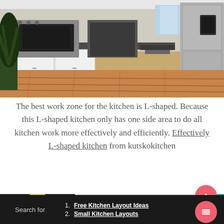[Figure (photo): L-shaped kitchen with stainless steel appliances, white cabinets, and hardwood floors. A green plant is visible on the left side.]
The best work zone for the kitchen is L-shaped. Because this L-shaped kitchen only has one side area to do all kitchen work more effectively and efficiently. Effectively L-shaped kitchen from kutskokitchen
[Figure (photo): Bottom portion of a kitchen interior showing cabinets and ceiling with a round light fixture. Yellow kitchen utensils visible on the left.]
Search for
1. Free Kitchen Layout Ideas
2. Small Kitchen Layouts